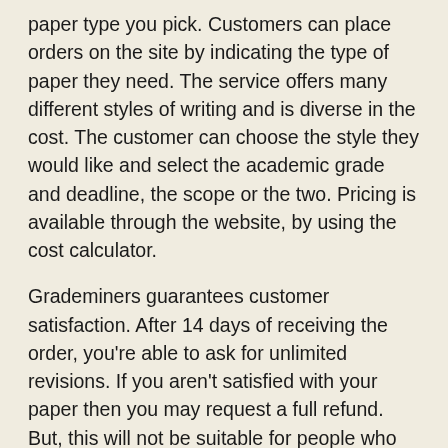paper type you pick. Customers can place orders on the site by indicating the type of paper they need. The service offers many different styles of writing and is diverse in the cost. The customer can choose the style they would like and select the academic grade and deadline, the scope or the two. Pricing is available through the website, by using the cost calculator.
Grademiners guarantees customer satisfaction. After 14 days of receiving the order, you're able to ask for unlimited revisions. If you aren't satisfied with your paper then you may request a full refund. But, this will not be suitable for people who want to submit their paper in exchange for academic credit. Grademiners' guarantees do not cover plagiarism and you should only use the company for your research paper, and not to submit them for academic credit.
GradeMiners offers cheap and fast papers at a reasonable cost and is quick. However it is recommended to look up pricing before signing up. Although some firms may cost more or be less cost-effective than